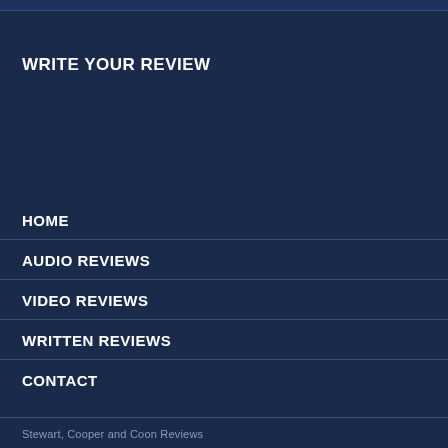WRITE YOUR REVIEW
HOME
AUDIO REVIEWS
VIDEO REVIEWS
WRITTEN REVIEWS
CONTACT
Stewart, Cooper and Coon Reviews